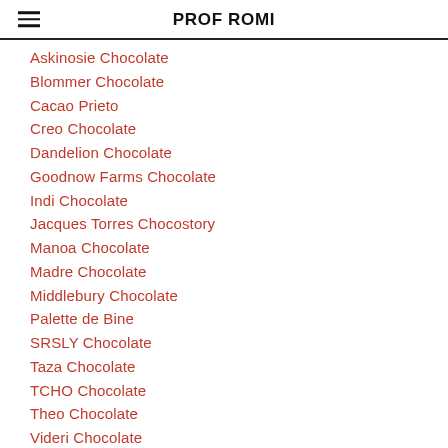PROF ROMI
Askinosie Chocolate
Blommer Chocolate
Cacao Prieto
Creo Chocolate
Dandelion Chocolate
Goodnow Farms Chocolate
Indi Chocolate
Jacques Torres Chocostory
Manoa Chocolate
Madre Chocolate
Middlebury Chocolate
Palette de Bine
SRSLY Chocolate
Taza Chocolate
TCHO Chocolate
Theo Chocolate
Videri Chocolate
Woodblock Chocolate